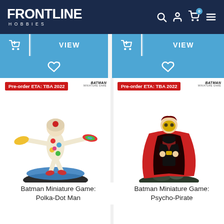[Figure (screenshot): Frontline Hobbies e-commerce website header with dark navy background, white logo text 'FRONTLINE HOBBIES', and navigation icons (search, user, cart with 0, menu) on the right]
[Figure (screenshot): Two blue 'Add to cart' and 'VIEW' button rows, one for each product column]
[Figure (screenshot): Two blue wishlist heart icon buttons, one for each product column]
[Figure (photo): Painted miniature of Polka-Dot Man from Batman Miniature Game - colorful figure with polka-dot costume throwing frisbee-like discs, standing on blue oval base. Red 'Pre-order ETA: TBA 2022' badge. Batman Miniature Game logo top right.]
Batman Miniature Game: Polka-Dot Man
[Figure (photo): Painted miniature of Psycho-Pirate from Batman Miniature Game - red-caped figure with gold mask standing on rocky base. Red 'Pre-order ETA: TBA 2022' badge. Batman Miniature Game logo top right.]
Batman Miniature Game: Psycho-Pirate